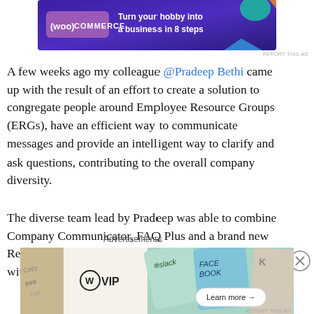[Figure (screenshot): WooCommerce advertisement banner with purple background. Text reads: 'Turn your hobby into a business in 8 steps']
A few weeks ago my colleague @Pradeep Bethi came up with the result of an effort to create a solution to congregate people around Employee Resource Groups (ERGs), have an efficient way to communicate messages and provide an intelligent way to clarify and ask questions, contributing to the overall company diversity.
The diverse team lead by Pradeep was able to combine Company Communicator, FAQ Plus and a brand new React application to create a new Teams app template with the major goal to foster
Advertisements
[Figure (screenshot): WordPress VIP advertisement banner with cards graphics and 'Learn more' button]